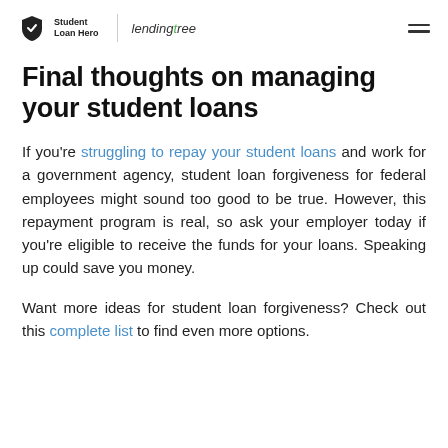Student Loan Hero | lendingtree
Final thoughts on managing your student loans
If you're struggling to repay your student loans and work for a government agency, student loan forgiveness for federal employees might sound too good to be true. However, this repayment program is real, so ask your employer today if you're eligible to receive the funds for your loans. Speaking up could save you money.
Want more ideas for student loan forgiveness? Check out this complete list to find even more options.